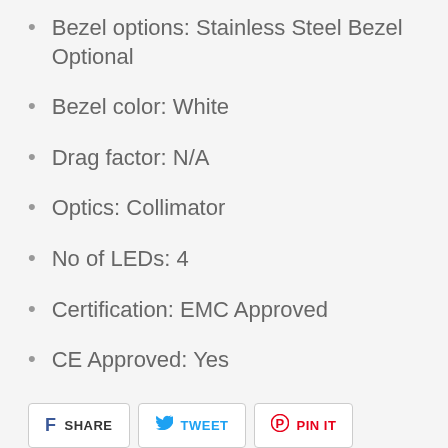Bezel options: Stainless Steel Bezel Optional
Bezel color: White
Drag factor: N/A
Optics: Collimator
No of LEDs: 4
Certification: EMC Approved
CE Approved: Yes
SHARE  TWEET  PIN IT
YOU MAY ALSO LIKE
[Figure (other): Two product image placeholder boxes side by side]